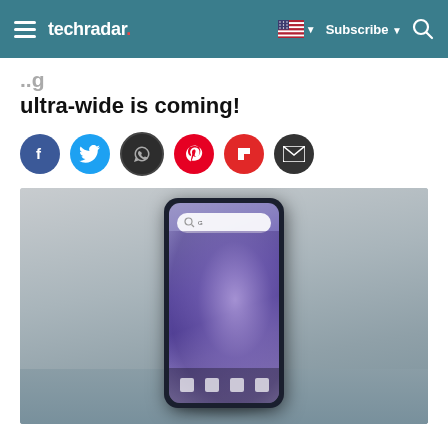techradar. — Subscribe — Search
ultra-wide is coming!
[Figure (other): Social sharing icons: Facebook, Twitter, WhatsApp, Pinterest, Flipboard, Email]
[Figure (photo): OnePlus 7 Pro smartphone leaning against a concrete wall, showing the phone's edge-to-edge display with a purple abstract wallpaper and Google search bar visible]